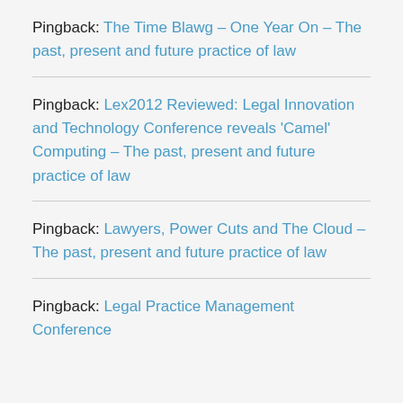Pingback: The Time Blawg – One Year On – The past, present and future practice of law
Pingback: Lex2012 Reviewed: Legal Innovation and Technology Conference reveals 'Camel' Computing – The past, present and future practice of law
Pingback: Lawyers, Power Cuts and The Cloud – The past, present and future practice of law
Pingback: Legal Practice Management Conference